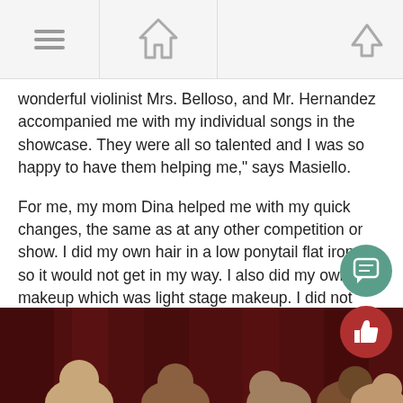[Navigation bar with menu, home, and up arrow icons]
wonderful violinist Mrs. Belloso, and Mr. Hernandez accompanied me with my individual songs in the showcase. They were all so talented and I was so happy to have them helping me," says Masiello.
For me, my mom Dina helped me with my quick changes, the same as at any other competition or show. I did my own hair in a low ponytail flat ironed so it would not get in my way. I also did my own makeup which was light stage makeup. I did not have anyone accompany me or assist me other than Bethany and those who have influenced or helped my dance training since I was three.
[Figure (photo): Group of people posing together in front of a dark red curtain backdrop]